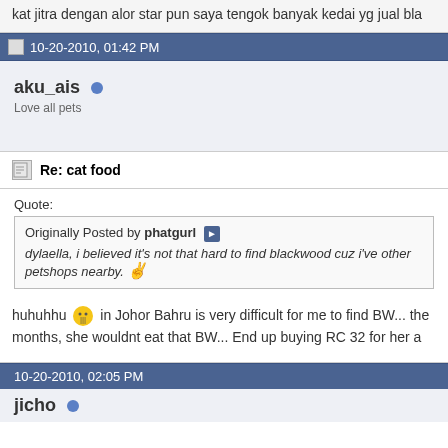kat jitra dengan alor star pun saya tengok banyak kedai yg jual bla...
10-20-2010, 01:42 PM
aku_ais
Love all pets
Re: cat food
Quote:
Originally Posted by phatgurl
dylaella, i believed it's not that hard to find blackwood cuz i've... other petshops nearby.
huhuhhu in Johor Bahru is very difficult for me to find BW... the months, she wouldnt eat that BW... End up buying RC 32 for her a
10-20-2010, 02:05 PM
jicho